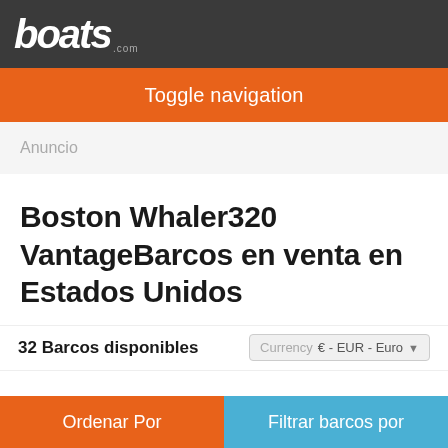boats.com
Toggle navigation
Anuncio
Boston Whaler320 VantageBarcos en venta en Estados Unidos
32 Barcos disponibles   Currency  € - EUR - Euro
[Figure (photo): Partial view of boats listing image preview with photo count badge showing 27]
Ordenar Por
Filtrar barcos por